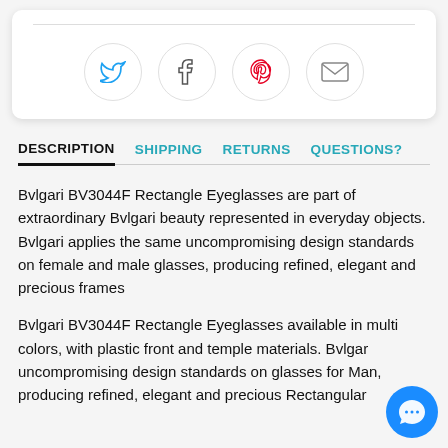[Figure (other): Social sharing icons in circles: Twitter (blue bird), Facebook (f), Pinterest (red P), Email (envelope)]
DESCRIPTION  SHIPPING  RETURNS  QUESTIONS?
Bvlgari BV3044F Rectangle Eyeglasses are part of extraordinary Bvlgari beauty represented in everyday objects. Bvlgari applies the same uncompromising design standards on female and male glasses, producing refined, elegant and precious frames
Bvlgari BV3044F Rectangle Eyeglasses available in multi colors, with plastic front and temple materials. Bvlgari uncompromising design standards on glasses for Man, producing refined, elegant and precious Rectangular